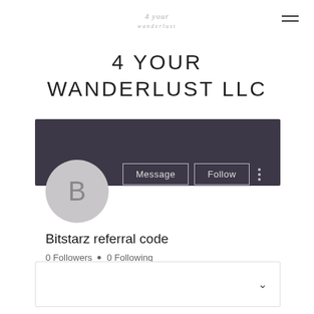4 your wanderlust
4 YOUR WANDERLUST LLC
[Figure (screenshot): Dark purple profile banner with Message and Follow buttons and a circular avatar with letter B]
Bitstarz referral code
0 Followers • 0 Following
[Figure (other): Empty dropdown/accordion box with chevron down arrow]